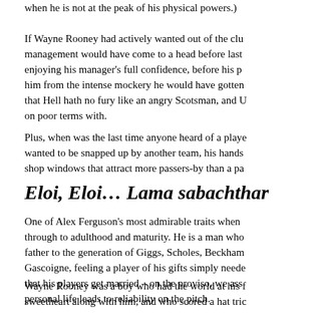when he is not at the peak of his physical powers.)
If Wayne Rooney had actively wanted out of the club, management would have come to a head before last enjoying his manager's full confidence, before his p him from the intense mockery he would have gotten that Hell hath no fury like an angry Scotsman, and U on poor terms with.
Plus, when was the last time anyone heard of a playe wanted to be snapped up by another team, his hands shop windows that attract more passers-by than a pa
Eloi, Eloi… Lama sabachtha
One of Alex Ferguson's most admirable traits when through to adulthood and maturity. He is a man who father to the generation of Giggs, Scholes, Beckham Gascoigne, feeling a player of his gifts simply neede that his players get married – on the proviso, we ass personal life leads to reliability on the pitch.
Wayne Rooney was a boy who had the world at his f sweetheart along with him, and who scored a hat tri